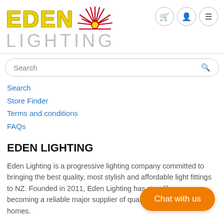[Figure (logo): Eden Lighting logo with yellow EDEN text and sun/starburst graphic, LIGHTING in light gray below]
Search
Store Finder
Terms and conditions
FAQs
EDEN LIGHTING
Eden Lighting is a progressive lighting company committed to bringing the best quality, most stylish and affordable light fittings to NZ. Founded in 2011, Eden Lighting has steadily grown, becoming a reliable major supplier of quality light fittings for NZ homes.